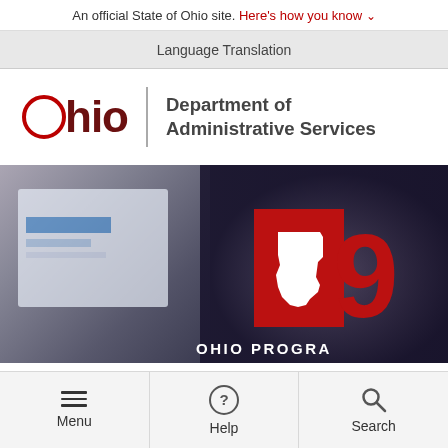An official State of Ohio site. Here's how you know ∨
Language Translation
[Figure (logo): Ohio Department of Administrative Services logo with red circle O, 'hio' text, divider, and department name]
[Figure (screenshot): Hero banner image showing a computer screen on left with blurred interface, dark background, Ohio 9 badge with red square containing Ohio state shape outline, large red '9', and 'OHIO PROGRA' text at bottom]
Menu  Help  Search